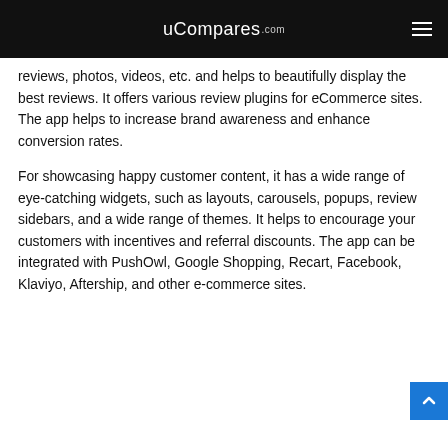uCompares.com
reviews, photos, videos, etc. and helps to beautifully display the best reviews. It offers various review plugins for eCommerce sites. The app helps to increase brand awareness and enhance conversion rates.
For showcasing happy customer content, it has a wide range of eye-catching widgets, such as layouts, carousels, popups, review sidebars, and a wide range of themes. It helps to encourage your customers with incentives and referral discounts. The app can be integrated with PushOwl, Google Shopping, Recart, Facebook, Klaviyo, Aftership, and other e-commerce sites.